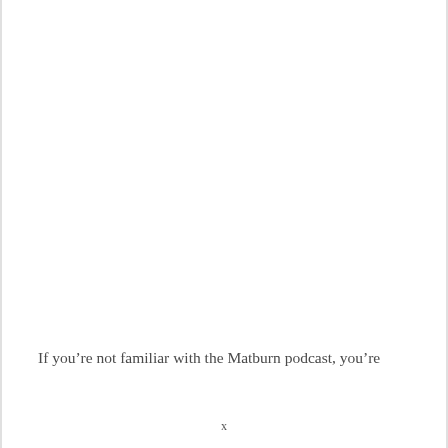If you’re not familiar with the Matburn podcast, you’re
x